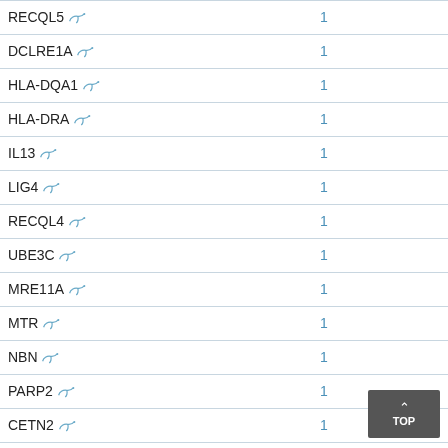| Gene | Count |  |
| --- | --- | --- |
| RECQL5 | 1 |  |
| DCLRE1A | 1 |  |
| HLA-DQA1 | 1 |  |
| HLA-DRA | 1 |  |
| IL13 | 1 |  |
| LIG4 | 1 |  |
| RECQL4 | 1 |  |
| UBE3C | 1 |  |
| MRE11A | 1 |  |
| MTR | 1 |  |
| NBN | 1 |  |
| PARP2 | 1 |  |
| CETN2 | 1 |  |
| ADRB2 | 1 |  |
| DNMT3A | 1 |  |
| ERVK2 | 1 |  |
| SKA3 | 1 |  |